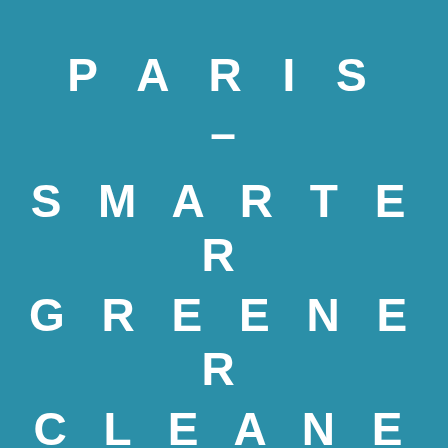PARIS – SMARTER GREENER CLEANER
The tech and the brain behind The Electric Storage Company